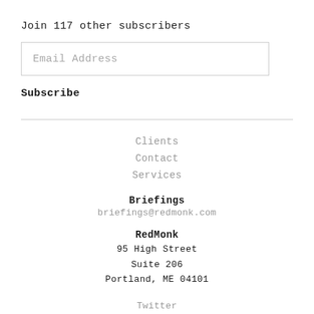Join 117 other subscribers
Email Address
Subscribe
Clients
Contact
Services
Briefings
briefings@redmonk.com
RedMonk
95 High Street
Suite 206
Portland, ME 04101
Twitter
YouTube